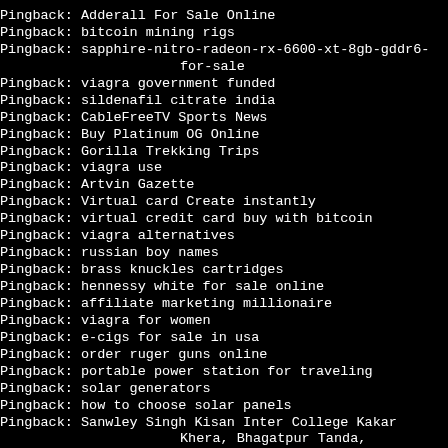Pingback: Adderall For Sale Online
Pingback: bitcoin mining rigs
Pingback: sapphire-nitro-radeon-rx-6600-xt-8gb-gddr6-for-sale
Pingback: viagra government funded
Pingback: sildenafil citrate india
Pingback: CableFreeTV Sports News
Pingback: Buy Platinum OG Online
Pingback: Gorilla Trekking Trips
Pingback: viagra use
Pingback: Artvin Gazette
Pingback: Virtual card Create instantly
Pingback: virtual credit card buy with bitcoin
Pingback: viagra alternatives
Pingback: russian boy names
Pingback: brass knuckles cartridges
Pingback: hennessy white for sale online
Pingback: affiliate marketing millionaire
Pingback: viagra for women
Pingback: e-cigs for sale in usa
Pingback: order ruger guns online
Pingback: portable power station for traveling
Pingback: solar generators
Pingback: how to choose solar panels
Pingback: Sanwley Singh Kisan Inter College Kakar Khera, Bhagatpur Tanda, Moradabad - 244926
Pingback: fun sex games to play with your girlfriend
Pingback: St. Francis T. S. K. English School Binba Ward 17, Chandrapur - 442402
Pingback: Dr. Ambedkar Government Law College
Pingback: my life as a teenage robot escape from cluster prime